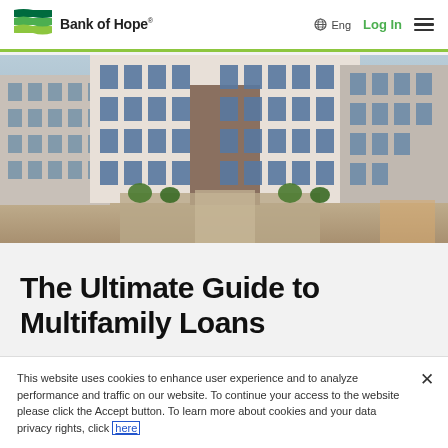Bank of Hope® | Eng | Log In
[Figure (photo): Aerial/exterior view of a modern multifamily apartment complex with white and brick facades, multiple stories, large windows, and a central courtyard area with seating and landscaping.]
The Ultimate Guide to Multifamily Loans
This website uses cookies to enhance user experience and to analyze performance and traffic on our website. To continue your access to the website please click the Accept button. To learn more about cookies and your data privacy rights, click here